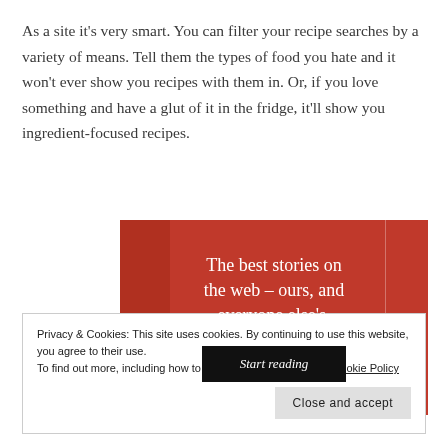As a site it's very smart. You can filter your recipe searches by a variety of means. Tell them the types of food you hate and it won't ever show you recipes with them in. Or, if you love something and have a glut of it in the fridge, it'll show you ingredient-focused recipes.
[Figure (other): Red advertisement banner reading 'The best stories on the web – ours, and everyone else's.' with a 'Start reading' button]
Privacy & Cookies: This site uses cookies. By continuing to use this website, you agree to their use.
To find out more, including how to control cookies, see here: Cookie Policy

Close and accept